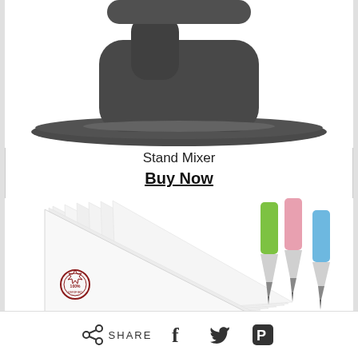[Figure (photo): Bottom portion of a dark grey/black stand mixer showing the base and lower body]
Stand Mixer
Buy Now
[Figure (photo): White piping bags fanned out on the left with a small red stamp/seal, and three piping tips with green, pink, and blue handles on the right]
SHARE